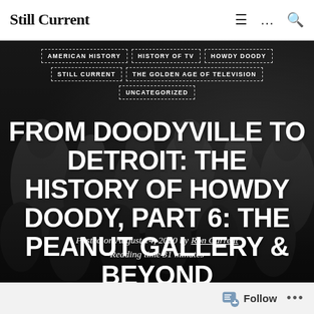Still Current
[Figure (photo): Black and white photograph of a crowd of children, used as hero background image for a blog post about Howdy Doody television history.]
AMERICAN HISTORY
HISTORY OF TV
HOWDY DOODY
STILL CURRENT
THE GOLDEN AGE OF TELEVISION
UNCATEGORIZED
FROM DOODYVILLE TO DETROIT: THE HISTORY OF HOWDY DOODY, PART 6: THE PEANUT GALLERY & BEYOND
Posted on August 14, 2020 by Ron Current
Reading time 31 minutes
Follow